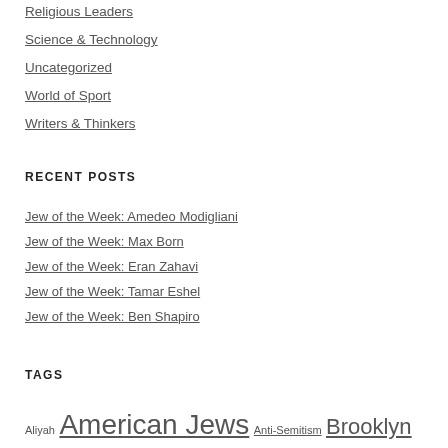Religious Leaders
Science & Technology
Uncategorized
World of Sport
Writers & Thinkers
RECENT POSTS
Jew of the Week: Amedeo Modigliani
Jew of the Week: Max Born
Jew of the Week: Eran Zahavi
Jew of the Week: Tamar Eshel
Jew of the Week: Ben Shapiro
TAGS
Aliyah  American Jews  Anti-Semitism  Brooklyn